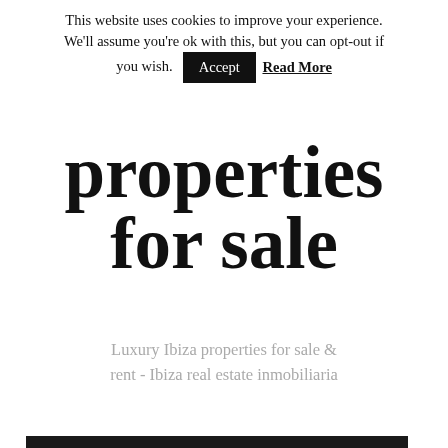This website uses cookies to improve your experience. We'll assume you're ok with this, but you can opt-out if you wish. Accept  Read More
properties for sale
Luxury Ibiza properties for sale & rent - Ibiza real estate inmobiliaria
≡ MENU
Images tagged "marina-views"